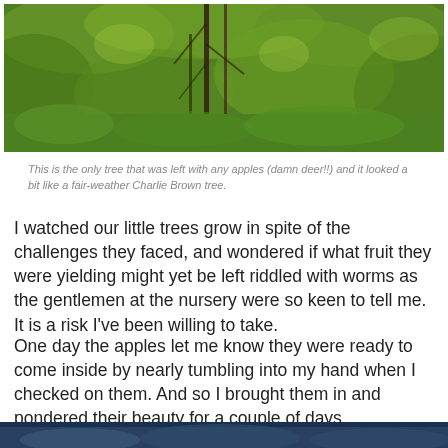[Figure (photo): Outdoor photo of a young tree surrounded by green grass and dense leafy vegetation in bright sunlight]
This is the only tree that was left with any apples (damn deer!!) and it looked a bit like a fair-weather Charlie Brown tree.
I watched our little trees grow in spite of the challenges they faced, and wondered if what fruit they were yielding might yet be left riddled with worms as the gentlemen at the nursery were so keen to tell me.  It is a risk I've been willing to take.
One day the apples let me know they were ready to come inside by nearly tumbling into my hand when I checked on them.  And so I brought them in and pondered their beauty for a couple of days.
[Figure (photo): Partial photo visible at bottom of page, appears to show apples or fruit indoors]